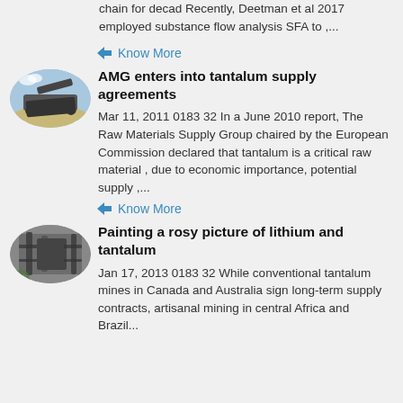chain for decad Recently, Deetman et al 2017 employed substance flow analysis SFA to ,...
Know More
[Figure (photo): Oval-shaped thumbnail image of a mining machine or conveyor equipment outdoors under a blue sky.]
AMG enters into tantalum supply agreements
Mar 11, 2011 0183 32 In a June 2010 report, The Raw Materials Supply Group chaired by the European Commission declared that tantalum is a critical raw material , due to economic importance, potential supply ,...
Know More
[Figure (photo): Oval-shaped thumbnail image of an industrial building interior with pipes and structures.]
Painting a rosy picture of lithium and tantalum
Jan 17, 2013 0183 32 While conventional tantalum mines in Canada and Australia sign long-term supply contracts, artisanal mining in central Africa and Brazil...